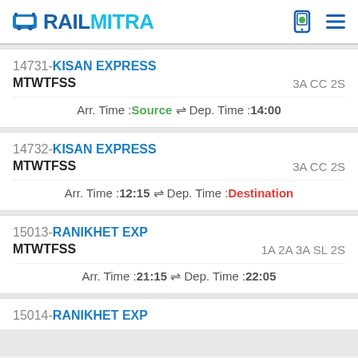RAILMITRA
14731-KISAN EXPRESS
MTWTFSS   3A CC 2S
Arr. Time :Source ⇌ Dep. Time :14:00
14732-KISAN EXPRESS
MTWTFSS   3A CC 2S
Arr. Time :12:15 ⇌ Dep. Time :Destination
15013-RANIKHET EXP
MTWTFSS   1A 2A 3A SL 2S
Arr. Time :21:15 ⇌ Dep. Time :22:05
15014-RANIKHET EXP